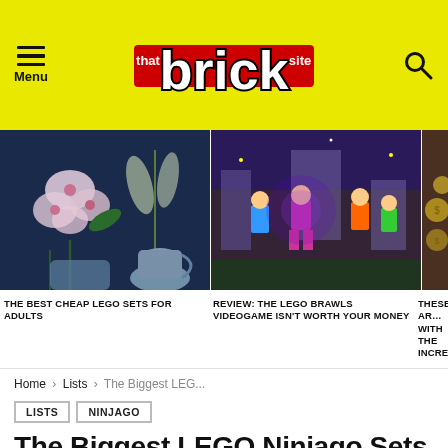thatbricksite — Menu / Search header
[Figure (screenshot): Image strip showing three article preview images: flowers/orchids on dark blue background, LEGO Brawls videogame art, and a partially visible fourth image]
THE BEST CHEAP LEGO SETS FOR ADULTS
REVIEW: THE LEGO BRAWLS VIDEOGAME ISN'T WORTH YOUR MONEY
THESE AR… WITH THE INCREASE…
Home › Lists › The Biggest LEG...
LISTS  NINJAGO
The Biggest LEGO Ninjago Sets Ever Released
by Kim
August 19, 2021, 1:07 pm